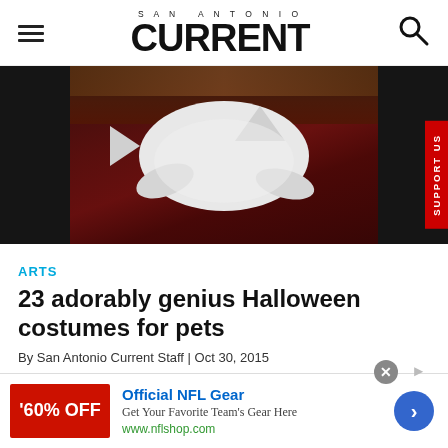SAN ANTONIO CURRENT
[Figure (photo): A white cat in a shark or ghost costume lying on a dark ornate rug, viewed from above, with dark hardwood floor visible at edges. Dark background on left and right sides.]
ARTS
23 adorably genius Halloween costumes for pets
By San Antonio Current Staff | Oct 30, 2015
[Figure (other): Advertisement: Official NFL Gear – 60% OFF. Get Your Favorite Team's Gear Here. www.nflshop.com]